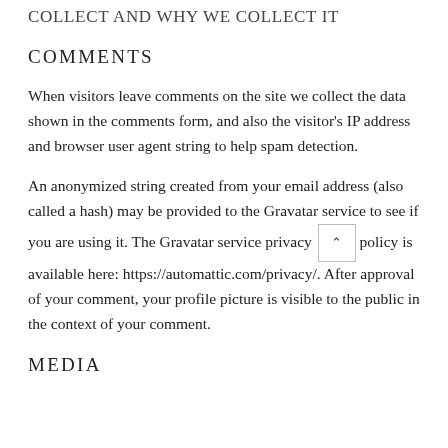COLLECT AND WHY WE COLLECT IT
COMMENTS
When visitors leave comments on the site we collect the data shown in the comments form, and also the visitor's IP address and browser user agent string to help spam detection.
An anonymized string created from your email address (also called a hash) may be provided to the Gravatar service to see if you are using it. The Gravatar service privacy policy is available here: https://automattic.com/privacy/. After approval of your comment, your profile picture is visible to the public in the context of your comment.
MEDIA